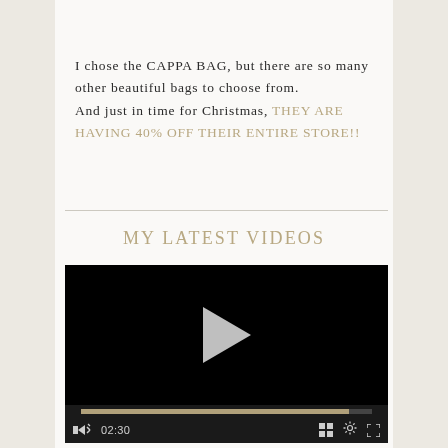I chose the CAPPA BAG, but there are so many other beautiful bags to choose from. And just in time for Christmas, THEY ARE HAVING 40% OFF THEIR ENTIRE STORE!!
MY LATEST VIDEOS
[Figure (screenshot): Embedded video player with black background, white play button triangle in center, progress bar, and controls showing mute icon, 02:30 timestamp, grid icon, settings gear icon, and fullscreen icon.]